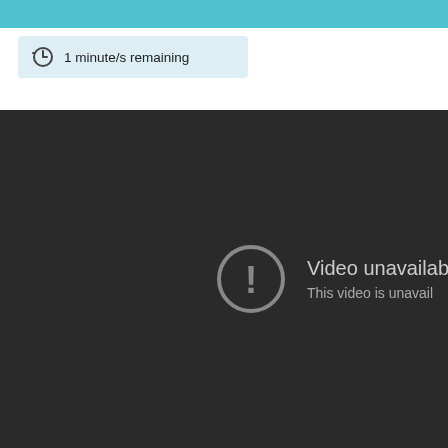1 minute/s remaining
[Figure (screenshot): Dark video player area showing 'Video unavailable' error message with a circle exclamation icon and text 'This video is unavailable']